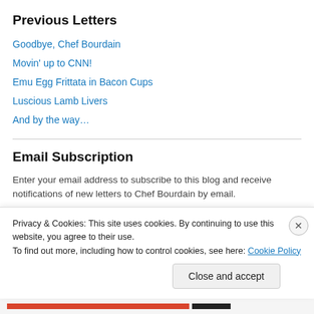Previous Letters
Goodbye, Chef Bourdain
Movin' up to CNN!
Emu Egg Frittata in Bacon Cups
Luscious Lamb Livers
And by the way…
Email Subscription
Enter your email address to subscribe to this blog and receive notifications of new letters to Chef Bourdain by email.
Privacy & Cookies: This site uses cookies. By continuing to use this website, you agree to their use.
To find out more, including how to control cookies, see here: Cookie Policy